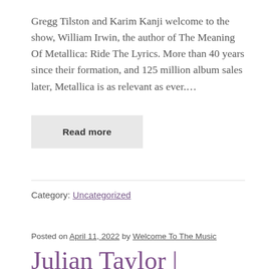Gregg Tilston and Karim Kanji welcome to the show, William Irwin, the author of The Meaning Of Metallica: Ride The Lyrics. More than 40 years since their formation, and 125 million album sales later, Metallica is as relevant as ever.…
Read more
Category: Uncategorized
Posted on April 11, 2022 by Welcome To The Music
Julian Taylor | Singer-